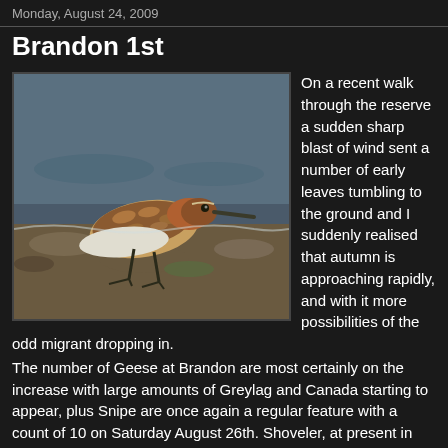Monday, August 24, 2009
Brandon 1st
[Figure (photo): A shorebird (wader/sandpiper) standing on rocky shore with water in background. The bird has brown and rufous patterned plumage on top, white underneath, long beak, and dark legs.]
On a recent walk through the reserve a sudden sharp blast of wind sent a number of early leaves tumbling to the ground and I suddenly realised that autumn is approaching rapidly, and with it more possibilities of the odd migrant dropping in.
The number of Geese at Brandon are most certainly on the increase with large amounts of Greylag and Canada starting to appear, plus Snipe are once again a regular feature with a count of 10 on Saturday August 26th. Shoveler, at present in